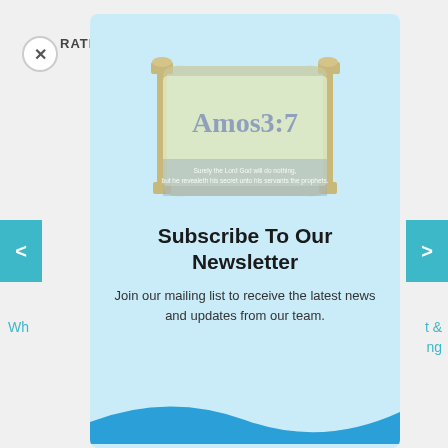[Figure (screenshot): Website screenshot showing a newsletter subscription modal popup overlay on a webpage. Background shows RATE: label with star icons, navigation arrows, and partial link text. The modal contains the Amos 3:7 logo (scroll with text), a Subscribe To Our Newsletter heading, and descriptive text.]
Subscribe To Our Newsletter
Join our mailing list to receive the latest news and updates from our team.